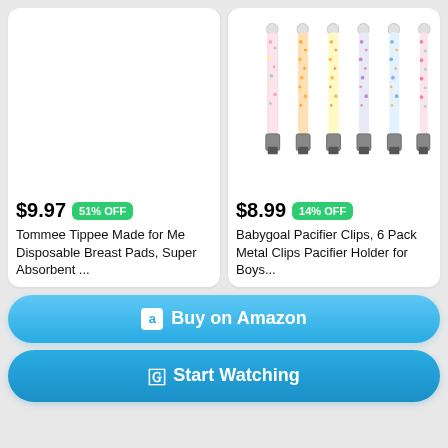[Figure (photo): Blank white product image placeholder for Tommee Tippee breast pads]
$9.97  51% OFF
Tommee Tippee Made for Me Disposable Breast Pads, Super Absorbent ...
[Figure (photo): Six floral pattern pacifier clips with metal clips at bottom, arranged side by side, by Babygoal]
$8.99  14% OFF
Babygoal Pacifier Clips, 6 Pack Metal Clips Pacifier Holder for Boys...
Buy on Amazon
Start Watching